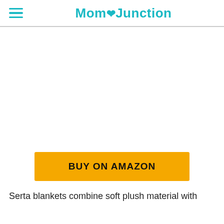Mom Junction
[Figure (other): Large white blank area (product image placeholder)]
BUY ON AMAZON
Serta blankets combine soft plush material with